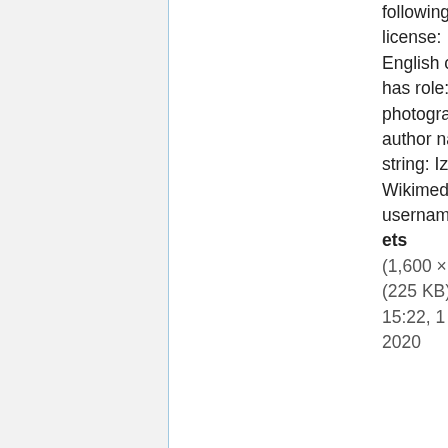following license: English object has role: photographer author name string: Izv ets Wikimedia username: Izv ets (1,600 × 1,200 (225 KB)) - 15:22, 1 October 2020
File:"Druzhba" cinema (Izhevsk).jpg this work, hereby publish